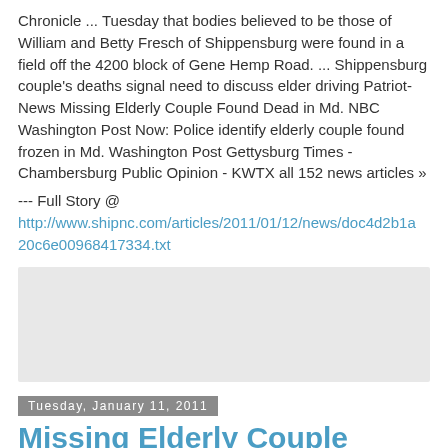Chronicle ... Tuesday that bodies believed to be those of William and Betty Fresch of Shippensburg were found in a field off the 4200 block of Gene Hemp Road. ... Shippensburg couple&#39;s deaths signal need to discuss elder driving Patriot-News Missing Elderly Couple Found Dead in Md. NBC Washington Post Now: Police identify elderly couple found frozen in Md. Washington Post Gettysburg Times - Chambersburg Public Opinion - KWTX all 152 news articles »
--- Full Story @ http://www.shipnc.com/articles/2011/01/12/news/doc4d2b1a20c6e00968417334.txt
[Figure (other): Gray rectangle placeholder/advertisement box]
Tuesday, January 11, 2011
Missing Elderly Couple Found Dead in Md.